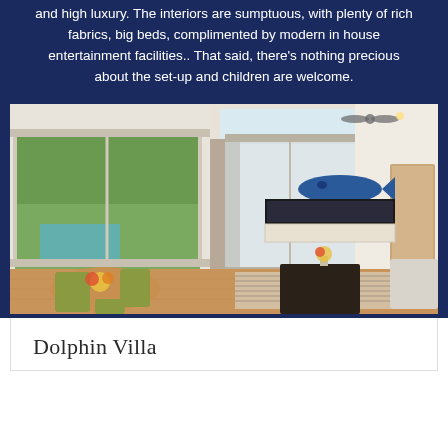and high luxury. The interiors are sumptuous, with plenty of rich fabrics, big beds, complimented by modern in house entertainment facilities.. That said, there's nothing precious about the set-up and children are welcome.
[Figure (photo): Interior of a modern villa living room with high ceilings, large glass sliding doors opening to a garden and pool, dining area with yellow-green chairs, a coffee table on a striped rug, flat-screen TV on the wall, and a blue shark wall decoration.]
Dolphin Villa